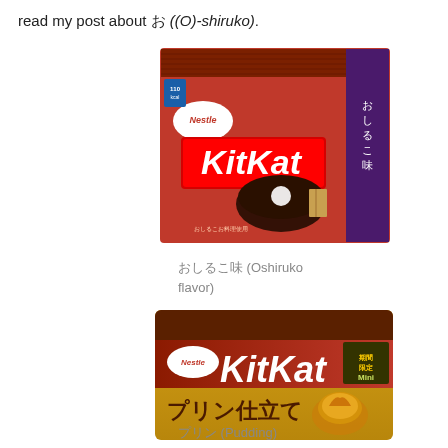read my post about お ((O)-shiruko).
[Figure (photo): KitKat Oshiruko flavor box — brown box with KitKat logo and Japanese text おしるこ味 with an image of a bowl of oshiruko soup]
おしるこ味 (Oshiruko flavor)
[Figure (photo): KitKat Pudding flavor mini bag — gold/yellow packaging with KitKat logo, Japanese text プリン仕立て and a caramel pudding image, labeled 期間限定 Mini]
プリン (Pudding)